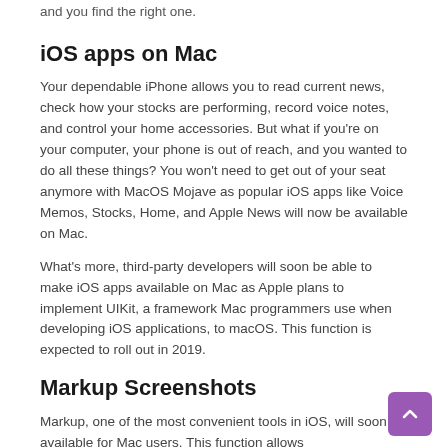and you find the right one.
iOS apps on Mac
Your dependable iPhone allows you to read current news, check how your stocks are performing, record voice notes, and control your home accessories. But what if you're on your computer, your phone is out of reach, and you wanted to do all these things? You won't need to get out of your seat anymore with MacOS Mojave as popular iOS apps like Voice Memos, Stocks, Home, and Apple News will now be available on Mac.
What's more, third-party developers will soon be able to make iOS apps available on Mac as Apple plans to implement UIKit, a framework Mac programmers use when developing iOS applications, to macOS. This function is expected to roll out in 2019.
Markup Screenshots
Markup, one of the most convenient tools in iOS, will soon be available for Mac users. This function allows